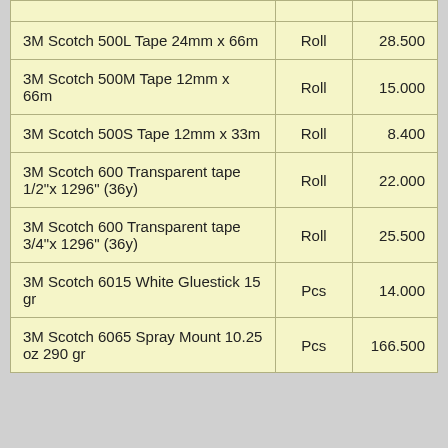| Product | Unit | Qty |
| --- | --- | --- |
| 3M Scotch 500L Tape 24mm x 66m | Roll | 28.500 |
| 3M Scotch 500M Tape 12mm x 66m | Roll | 15.000 |
| 3M Scotch 500S Tape 12mm x 33m | Roll | 8.400 |
| 3M Scotch 600 Transparent tape 1/2"x 1296" (36y) | Roll | 22.000 |
| 3M Scotch 600 Transparent tape 3/4"x 1296" (36y) | Roll | 25.500 |
| 3M Scotch 6015 White Gluestick 15 gr | Pcs | 14.000 |
| 3M Scotch 6065 Spray Mount 10.25 oz 290 gr | Pcs | 166.500 |